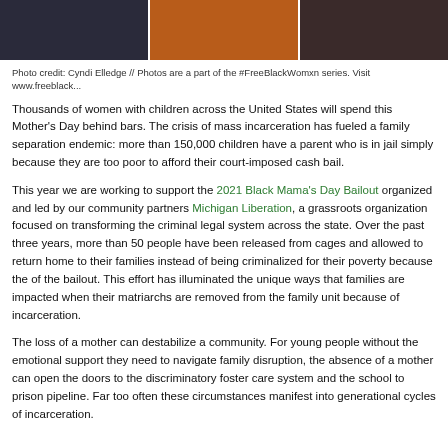[Figure (photo): Three-panel photo strip showing women, one in an orange jacket, part of the #FreeBlackWomxn series]
Photo credit: Cyndi Elledge // Photos are a part of the #FreeBlackWomxn series. Visit www.freeblack...
Thousands of women with children across the United States will spend this Mother's Day behind bars. The crisis of mass incarceration has fueled a family separation endemic: more than 150,000 children have a parent who is in jail simply because they are too poor to afford their court-imposed cash bail.
This year we are working to support the 2021 Black Mama's Day Bailout organized and led by our community partners Michigan Liberation, a grassroots organization focused on transforming the criminal legal system across the state. Over the past three years, more than 50 people have been released from cages and allowed to return home to their families instead of being criminalized for their poverty because the of the bailout. This effort has illuminated the unique ways that families are impacted when their matriarchs are removed from the family unit because of incarceration.
The loss of a mother can destabilize a community. For young people without the emotional support they need to navigate family disruption, the absence of a mother can open the doors to the discriminatory foster care system and the school to prison pipeline. Far too often these circumstances manifest into generational cycles of incarceration.